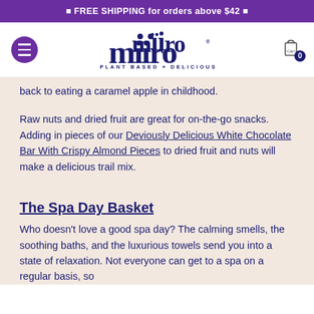🔷 FREE SHIPPING for orders above $42 🔷
[Figure (logo): Miiro brand logo with tagline PLANT BASED + DELICIOUS, hamburger menu button, and cart icon with 0 items]
back to eating a caramel apple in childhood.
Raw nuts and dried fruit are great for on-the-go snacks. Adding in pieces of our Deviously Delicious White Chocolate Bar With Crispy Almond Pieces to dried fruit and nuts will make a delicious trail mix.
The Spa Day Basket
Who doesn't love a good spa day? The calming smells, the soothing baths, and the luxurious towels send you into a state of relaxation. Not everyone can get to a spa on a regular basis, so